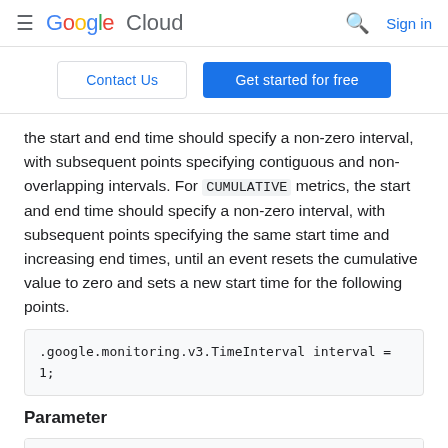Google Cloud  Sign in
Contact Us  Get started for free
the start and end time should specify a non-zero interval, with subsequent points specifying contiguous and non-overlapping intervals. For CUMULATIVE metrics, the start and end time should specify a non-zero interval, with subsequent points specifying the same start time and increasing end times, until an event resets the cumulative value to zero and sets a new start time for the following points.
.google.monitoring.v3.TimeInterval interval = 1;
Parameter
| Name |
| --- |